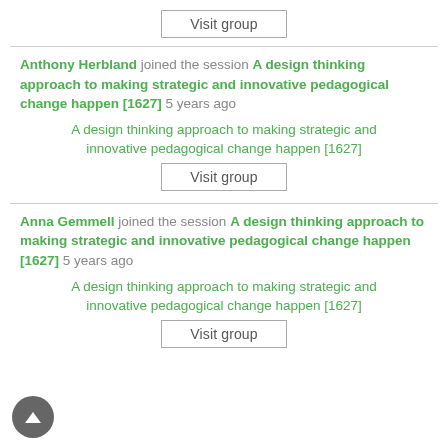Visit group
Anthony Herbland joined the session A design thinking approach to making strategic and innovative pedagogical change happen [1627] 5 years ago
A design thinking approach to making strategic and innovative pedagogical change happen [1627]
Visit group
Anna Gemmell joined the session A design thinking approach to making strategic and innovative pedagogical change happen [1627] 5 years ago
A design thinking approach to making strategic and innovative pedagogical change happen [1627]
Visit group